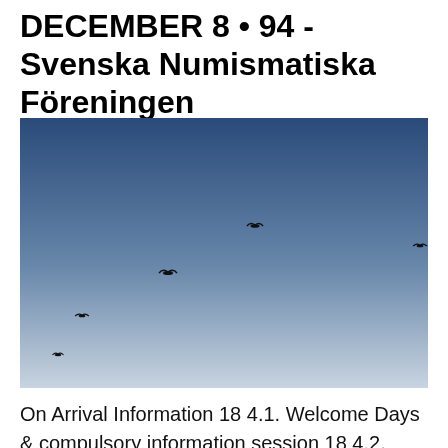DECEMBER 8 • 94 - Svenska Numismatiska Föreningen
[Figure (photo): Photo of birds flying in a blue-to-light-grey gradient sky. Several small dark bird silhouettes scattered at various heights against the sky.]
On Arrival Information 18 4.1. Welcome Days & compulsory information session 18 4.2. Mandatory